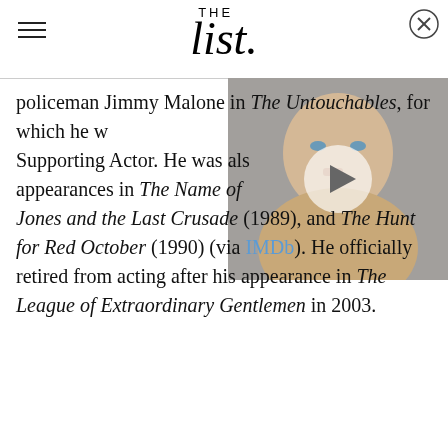THE list
[Figure (photo): Video overlay showing a man's face (appears to be Prince William) with a circular play button in the center, positioned in the upper right of the page.]
policeman Jimmy Malone in The Untouchables, for which he won Supporting Actor. He was also known for his appearances in The Name of the Rose, Indiana Jones and the Last Crusade (1989), and The Hunt for Red October (1990) (via IMDb). He officially retired from acting after his appearance in The League of Extraordinary Gentlemen in 2003.